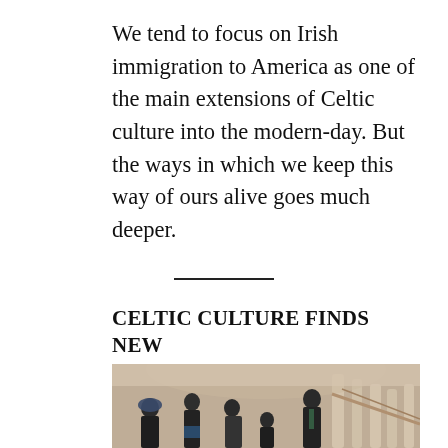We tend to focus on Irish immigration to America as one of the main extensions of Celtic culture into the modern-day. But the ways in which we keep this way of ours alive goes much deeper.
CELTIC CULTURE FINDS NEW HOMES AND OUTLETS
[Figure (photo): Group of people standing together in what appears to be an ornate building with classical architecture columns and arches. The group includes a woman wearing a hijab on the left, and several men, one wearing a kilt.]